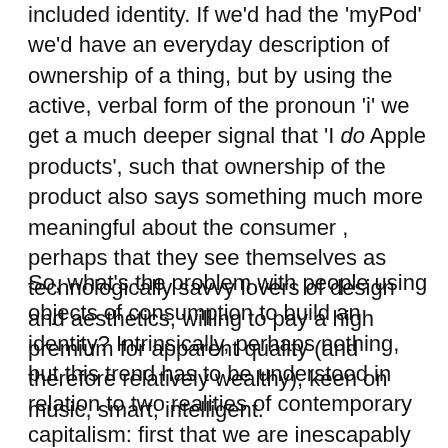included identity. If we'd had the 'myPod' we'd have an everyday description of ownership of a thing, but by using the active, verbal form of the pronoun 'i' we get a much deeper signal that 'I do Apple products', such that ownership of the product also says something much more meaningful about the consumer , perhaps that they see themselves as technologically savvy lovers of design and aesthetics, willing to pay a high premium for apparent quality (and therefore relatively wealthy), keen on music, smart, intelligent.
So, what's the problem with people using objects of consumption to build an identity? Intrinsically, perhaps nothing, but this trend has to be understood in relation to two realities of contemporary capitalism: first that we are inescapably bombarded with advertising so that claims that certain products are required for certain aspects of identity are familiar to people from early childhood; second that many are excluded from participation in this make-